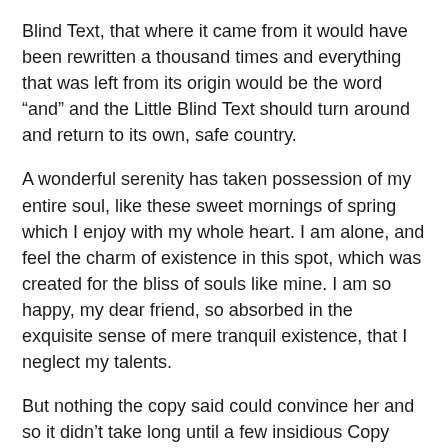Blind Text, that where it came from it would have been rewritten a thousand times and everything that was left from its origin would be the word “and” and the Little Blind Text should turn around and return to its own, safe country.
A wonderful serenity has taken possession of my entire soul, like these sweet mornings of spring which I enjoy with my whole heart. I am alone, and feel the charm of existence in this spot, which was created for the bliss of souls like mine. I am so happy, my dear friend, so absorbed in the exquisite sense of mere tranquil existence, that I neglect my talents.
But nothing the copy said could convince her and so it didn’t take long until a few insidious Copy Writers ambushed her, made her drunk with Longe and Parole and dragged her into their agency, where they abused her for their projects again and again.